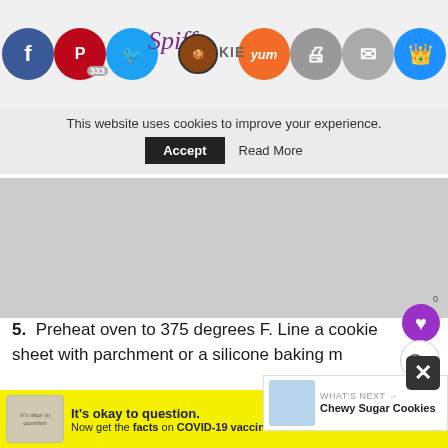Spiffy Cookie — social share bar with Facebook, Pinterest (333), Twitter, Yummly, Print, Email, Crown buttons
This website uses cookies to improve your experience.
Accept  Read More
[Figure (screenshot): Gray advertisement placeholder area]
5. Preheat oven to 375 degrees F. Line a cookie sheet with parchment or a silicone baking m
6. Remove chilled cookie dough from wrapper and cut into 1/4-inch thick slices. Place 2 inches apart on prepared cookie sheet, sprinkle center
WHAT'S NEXT → Chewy Sugar Cookies
It's okay to question. Now get the facts on COVID-19 vaccines  GetVaccineAnswers.org